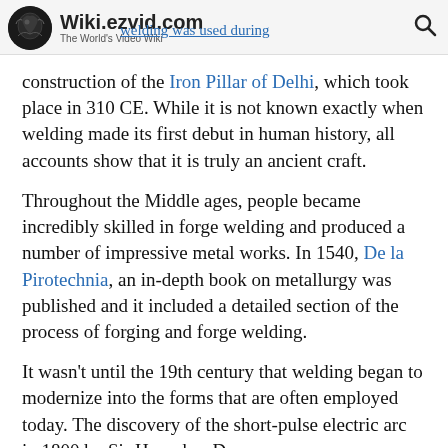Wiki.ezvid.com The World's Video Wiki — welding was used during
construction of the Iron Pillar of Delhi, which took place in 310 CE. While it is not known exactly when welding made its first debut in human history, all accounts show that it is truly an ancient craft.
Throughout the Middle ages, people became incredibly skilled in forge welding and produced a number of impressive metal works. In 1540, De la Pirotechnia, an in-depth book on metallurgy was published and it included a detailed section of the process of forging and forge welding.
It wasn't until the 19th century that welding began to modernize into the forms that are often employed today. The discovery of the short-pulse electric arc in 1800 by Sir Humphry Davy...